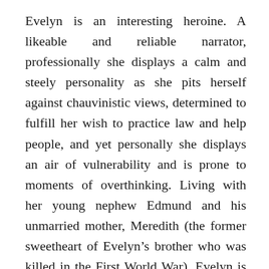Evelyn is an interesting heroine. A likeable and reliable narrator, professionally she displays a calm and steely personality as she pits herself against chauvinistic views, determined to fulfill her wish to practice law and help people, and yet personally she displays an air of vulnerability and is prone to moments of overthinking. Living with her young nephew Edmund and his unmarried mother, Meredith (the former sweetheart of Evelyn’s brother who was killed in the First World War), Evelyn is flouting her mother’s old-fashion views that Evelyn should be living at home and helping to support the household. Fortunately, her